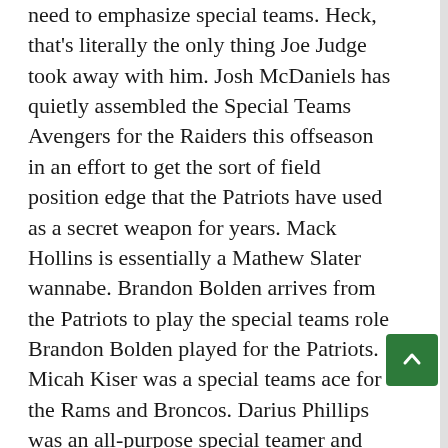need to emphasize special teams. Heck, that's literally the only thing Joe Judge took away with him. Josh McDaniels has quietly assembled the Special Teams Avengers for the Raiders this offseason in an effort to get the sort of field position edge that the Patriots have used as a secret weapon for years. Mack Hollins is essentially a Mathew Slater wannabe. Brandon Bolden arrives from the Patriots to play the special teams role Brandon Bolden played for the Patriots. Micah Kiser was a special teams ace for the Rams and Broncos. Darius Phillips was an all-purpose special teamer and return man for the Bengals. All of these veterans are likely to make the Raiders roster, because there are plenty of failed Mike Mayock draft picks and Jon Gruden experiments to replace.
Raiders opponents started their average drive on the 26.2 yard line last year, the third-worst field...